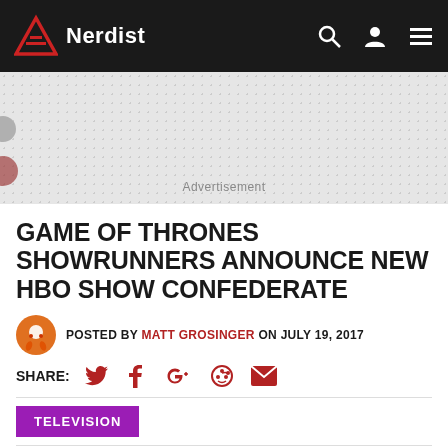Nerdist
[Figure (other): Advertisement banner placeholder with dotted grey background]
Advertisement
GAME OF THRONES SHOWRUNNERS ANNOUNCE NEW HBO SHOW CONFEDERATE
POSTED BY MATT GROSINGER ON JULY 19, 2017
SHARE:
TELEVISION
I always just assumed that once David Benioff and D.B. Weiss